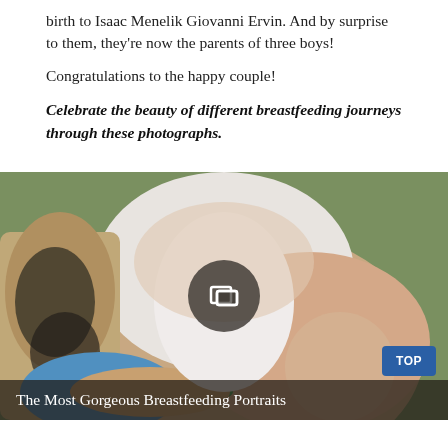birth to Isaac Menelik Giovanni Ervin. And by surprise to them, they're now the parents of three boys!
Congratulations to the happy couple!
Celebrate the beauty of different breastfeeding journeys through these photographs.
[Figure (photo): A mother breastfeeding a newborn baby outdoors; mother has tattoos on her arm and wears colorful bracelets; a gallery/slideshow icon overlay is visible in the center; a 'TOP' button is in the lower right corner.]
The Most Gorgeous Breastfeeding Portraits